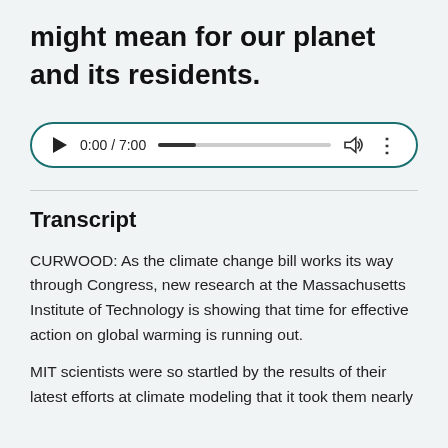might mean for our planet and its residents.
[Figure (other): Audio player widget showing 0:00 / 7:00 with a progress bar, volume icon, and more options icon. Teal/dark green border with rounded corners.]
Transcript
CURWOOD: As the climate change bill works its way through Congress, new research at the Massachusetts Institute of Technology is showing that time for effective action on global warming is running out.
MIT scientists were so startled by the results of their latest efforts at climate modeling that it took them nearly